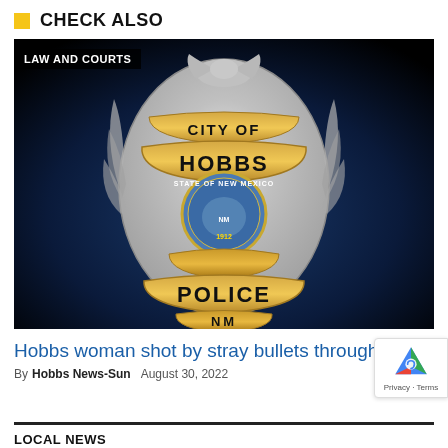CHECK ALSO
[Figure (photo): City of Hobbs Police NM badge on dark blue/black background with 'LAW AND COURTS' overlay tag]
Hobbs woman shot by stray bullets through wall
By Hobbs News-Sun  August 30, 2022
LOCAL NEWS